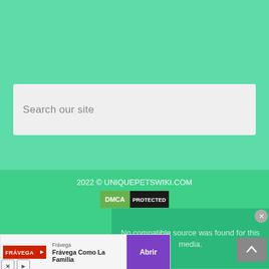[Figure (screenshot): Green teal background area (main content section)]
Search  our site
2022 © UNIQUEPETSWIKI.COM
[Figure (logo): DMCA PROTECTED badge — black and green logo]
No compatible source was found for this media.
[Figure (screenshot): Advertisement banner: Frávega — Frávega Como La Familia — Abrir button]